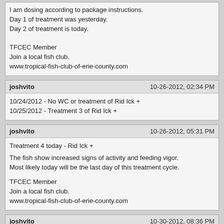I am dosing according to package instructions.
Day 1 of treatment was yesterday.
Day 2 of treatment is today.

TFCEC Member
Join a local fish club.
www.tropical-fish-club-of-erie-county.com
joshvito
10-26-2012, 02:34 PM
10/24/2012 - No WC or treatment of Rid Ick +
10/25/2012 - Treatment 3 of Rid Ick +
joshvito
10-26-2012, 05:31 PM
Treatment 4 today - Rid Ick +

The fish show increased signs of activity and feeding vigor.
Most likely today will be the last day of this treatment cycle.

TFCEC Member
Join a local fish club.
www.tropical-fish-club-of-erie-county.com
joshvito
10-30-2012, 08:36 PM
Fish are definitely show an improved coloration and disposition. I'm confident that the problem was a protozoan issue. The fish are aggressively eating flake food and small pellets as previously posted.

Total treatment time was 3.5 doses over 5 day span. From 10/22/12 to 10/27/12.